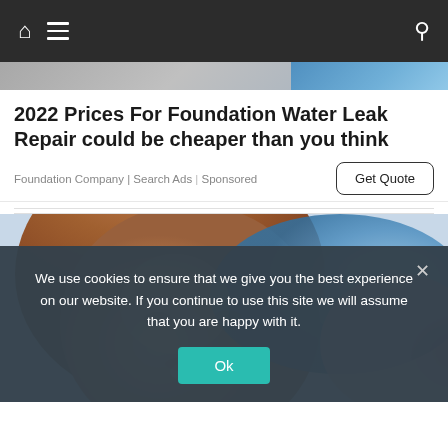Navigation bar with home icon, hamburger menu, and search icon
[Figure (photo): Top strip showing partial images — grey/stone texture on left, blue clothing/background on right]
2022 Prices For Foundation Water Leak Repair could be cheaper than you think
Foundation Company | Search Ads | Sponsored
Get Quote
[Figure (photo): Close-up photo of a smiling woman with brown hair and light makeup, wearing or near blue fabric, with blurred colorful background]
We use cookies to ensure that we give you the best experience on our website. If you continue to use this site we will assume that you are happy with it.
Ok